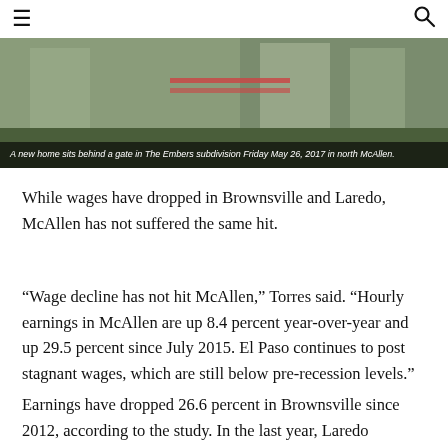≡  🔍
[Figure (photo): A new home sits behind a gate in The Embers subdivision Friday May 26, 2017 in north McAllen.]
A new home sits behind a gate in The Embers subdivision Friday May 26, 2017 in north McAllen.
While wages have dropped in Brownsville and Laredo, McAllen has not suffered the same hit.
“Wage decline has not hit McAllen,” Torres said. “Hourly earnings in McAllen are up 8.4 percent year-over-year and up 29.5 percent since July 2015. El Paso continues to post stagnant wages, which are still below pre-recession levels.”
Earnings have dropped 26.6 percent in Brownsville since 2012, according to the study. In the last year, Laredo earnings have fallen 8.8 percent.